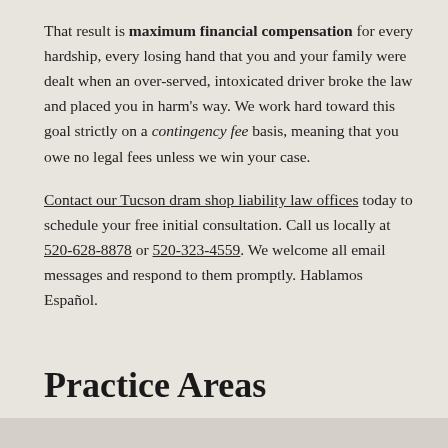That result is maximum financial compensation for every hardship, every losing hand that you and your family were dealt when an over-served, intoxicated driver broke the law and placed you in harm's way. We work hard toward this goal strictly on a contingency fee basis, meaning that you owe no legal fees unless we win your case.

Contact our Tucson dram shop liability law offices today to schedule your free initial consultation. Call us locally at 520-628-8878 or 520-323-4559. We welcome all email messages and respond to them promptly. Hablamos Español.
Practice Areas